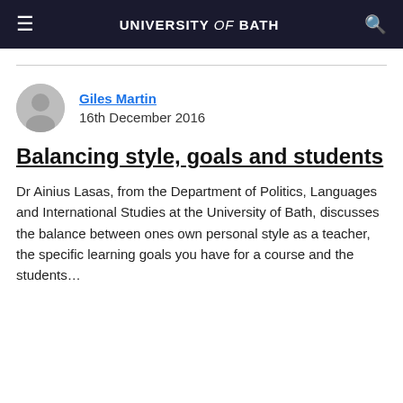UNIVERSITY of BATH
Giles Martin
16th December 2016
Balancing style, goals and students
Dr Ainius Lasas, from the Department of Politics, Languages and International Studies at the University of Bath, discusses the balance between ones own personal style as a teacher, the specific learning goals you have for a course and the students...